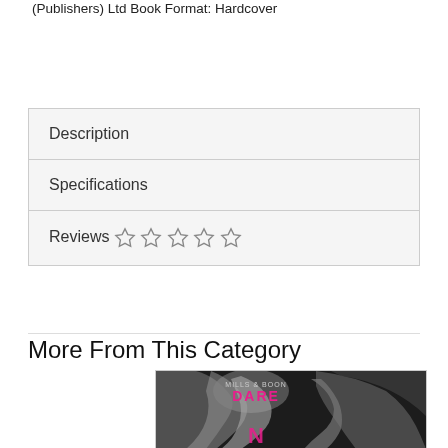(Publishers) Ltd Book Format: Hardcover
Description
Specifications
Reviews ☆ ☆ ☆ ☆ ☆
More From This Category
[Figure (photo): Book cover image for Mills & Boon Dare series, showing a black and white close-up of a couple about to kiss, with pink 'DARE' text and partial title starting with 'N']